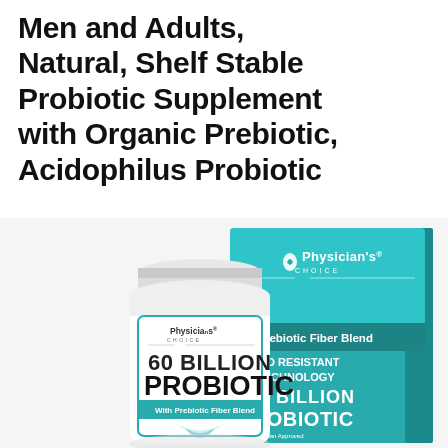Men and Adults, Natural, Shelf Stable Probiotic Supplement with Organic Prebiotic, Acidophilus Probiotic
[Figure (photo): Product photo showing Physician's Choice 60 Billion Probiotic supplement bottle and box. The white bottle on the left has a white cap and label reading '60 BILLION PROBIOTIC With Prebiotic Fiber Blend'. The teal/turquoise box on the right shows the Physician's Choice logo, 'ith Prebiotic Fiber Blend', 'ACID RESISTANT TECHNOLOGY', and '60 BILLION PROBIOTIC'.]